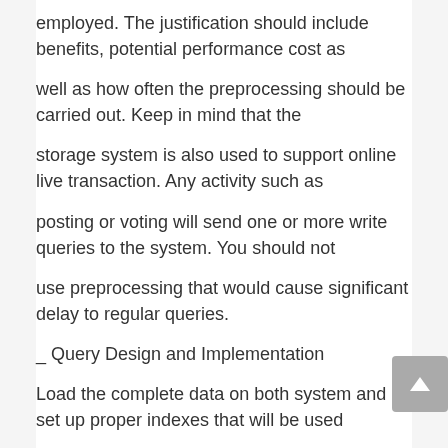employed. The justification should include benefits, potential performance cost as
well as how often the preprocessing should be carried out. Keep in mind that the
storage system is also used to support online live transaction. Any activity such as
posting or voting will send one or more write queries to the system. You should not
use preprocessing that would cause significant delay to regular queries.
_ Query Design and Implementation
Load the complete data on both system and set up proper indexes that will be used
by the target queries. Design and implement all target queries. You may implement
a query using the provided query command (e.g.